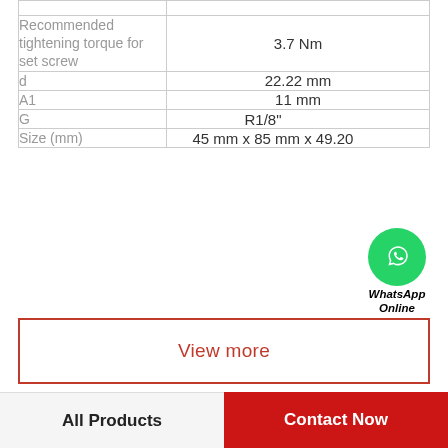| Property | Value |
| --- | --- |
|  |  |
| Recommended tightening torque for set screw | 3.7 Nm |
| d | 22.22 mm |
| A1 | 11 mm |
| G | R1/8" |
| Size (mm) | 45 mm x 85 mm x 49.20 |
View more
Company Profile
All Products | Contact Now